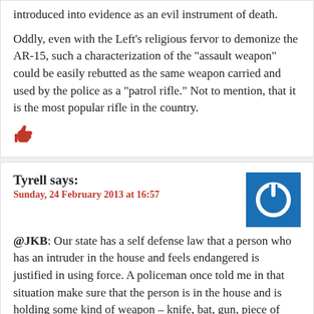introduced into evidence as an evil instrument of death.
Oddly, even with the Left’s religious fervor to demonize the AR-15, such a characterization of the “assault weapon” could be easily rebutted as the same weapon carried and used by the police as a “patrol rifle.” Not to mention, that it is the most popular rifle in the country.
[Figure (illustration): Red thumbs up icon]
Tyrell says:
Sunday, 24 February 2013 at 16:57
[Figure (illustration): Blue square avatar with white power button icon]
@JKB: Our state has a self defense law that a person who has an intruder in the house and feels endangered is justified in using force. A policeman once told me in that situation make sure that the person is in the house and is holding some kind of weapon – knife, bat, gun, piece of iron pipe, hammer.